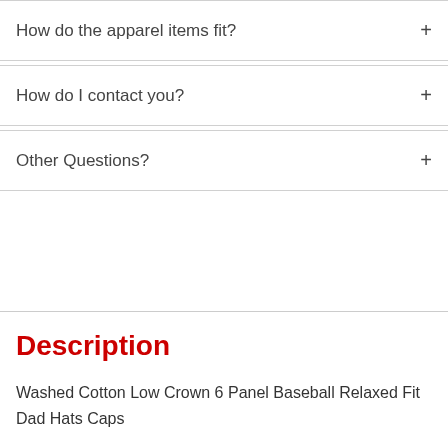How do the apparel items fit?
How do I contact you?
Other Questions?
Description
Washed Cotton Low Crown 6 Panel Baseball Relaxed Fit Dad Hats Caps